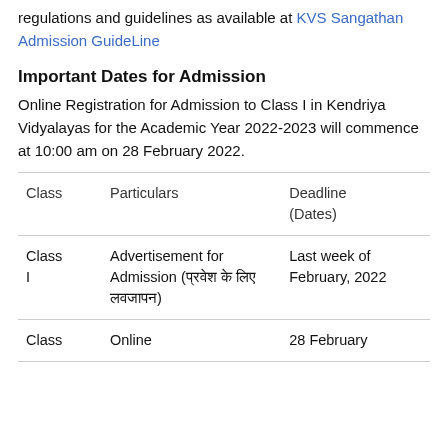and information on the Admission Rules, regulations and guidelines as available at KVS Sangathan Admission GuideLine
Important Dates for Admission
Online Registration for Admission to Class I in Kendriya Vidyalayas for the Academic Year 2022-2023 will commence at 10:00 am on 28 February 2022.
| Class | Particulars | Deadline (Dates) |
| --- | --- | --- |
| Class I | Advertisement for Admission (प्रवेश के लिए लवजापन) | Last week of February, 2022 |
| Class | Online | 28 February |